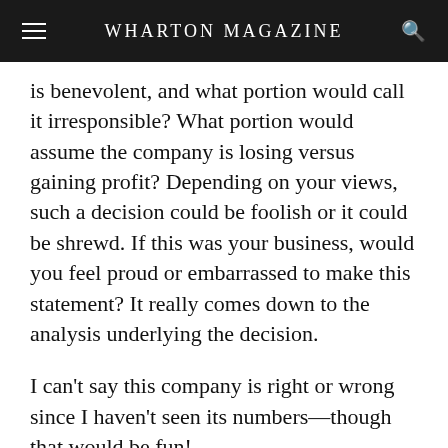WHARTON MAGAZINE
is benevolent, and what portion would call it irresponsible? What portion would assume the company is losing versus gaining profit? Depending on your views, such a decision could be foolish or it could be shrewd. If this was your business, would you feel proud or embarrassed to make this statement? It really comes down to the analysis underlying the decision.
I can't say this company is right or wrong since I haven't seen its numbers—though that would be fun!
I can, however, provide a list of questions to ask when considering potential price changes: